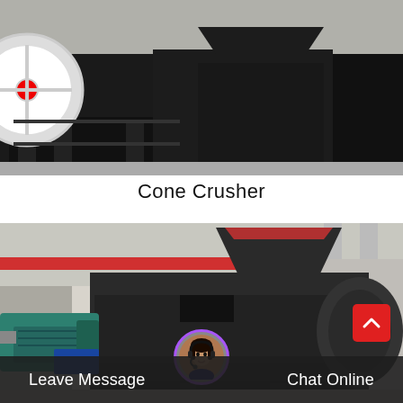[Figure (photo): Industrial cone crusher machine on black metal frame in a factory setting, with a large red/white flywheel visible on the left]
Cone Crusher
[Figure (photo): Industrial briquette/roller press machine in a large factory floor; large dark grey double-roller machine in center, teal/green electric motor on the left, red overhead crane in background]
Leave Message   Chat Online